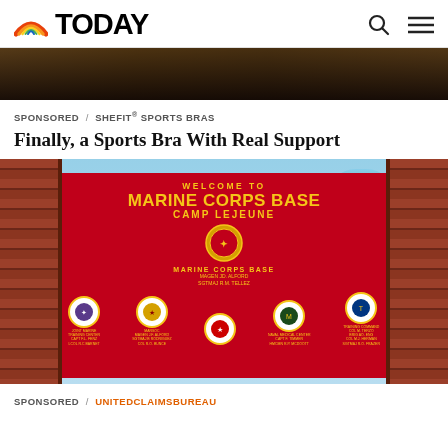TODAY
[Figure (photo): Cropped photo showing person's lower body in dark athletic wear, outdoors]
SPONSORED / SHEFIT® SPORTS BRAS
Finally, a Sports Bra With Real Support
[Figure (photo): Photograph of the Welcome to Marine Corps Base Camp Lejeune sign — a large red sign with gold text and military unit patches/emblems, flanked by brick pillars]
SPONSORED / UNITEDCLAIMSBUREAU